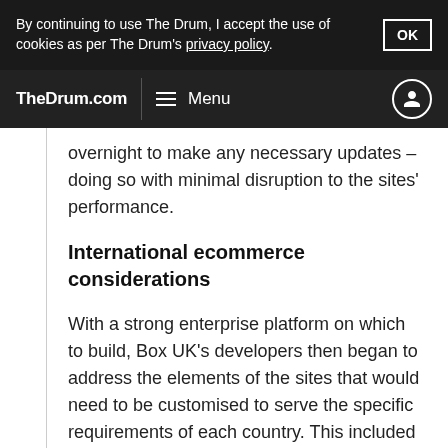By continuing to use The Drum, I accept the use of cookies as per The Drum's privacy policy.
TheDrum.com Menu
overnight to make any necessary updates – doing so with minimal disruption to the sites' performance.
International ecommerce considerations
With a strong enterprise platform on which to build, Box UK's developers then began to address the elements of the sites that would need to be customised to serve the specific requirements of each country. This included currency conversion, with administrators able to easily set the